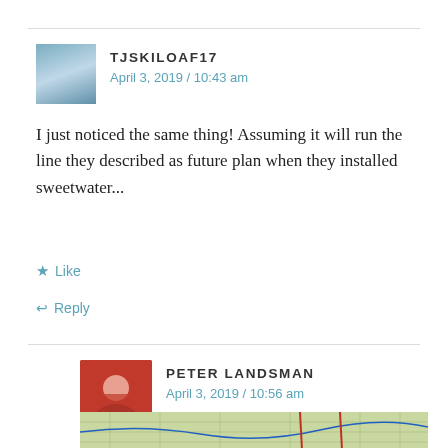TJSKILOAF17
April 3, 2019 / 10:43 am
I just noticed the same thing! Assuming it will run the line they described as future plan when they installed sweetwater...
Like
Reply
PETER LANDSMAN
April 3, 2019 / 10:56 am
This was the alignment approved in 2015 along with Sweetwater.
[Figure (map): Topographic/trail map showing alignment route]